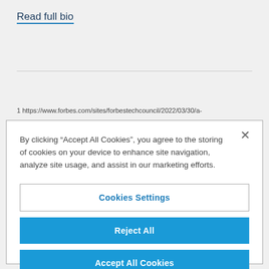Read full bio
1 https://www.forbes.com/sites/forbestechcouncil/2022/03/30/a-
By clicking “Accept All Cookies”, you agree to the storing of cookies on your device to enhance site navigation, analyze site usage, and assist in our marketing efforts.
Cookies Settings
Reject All
Accept All Cookies